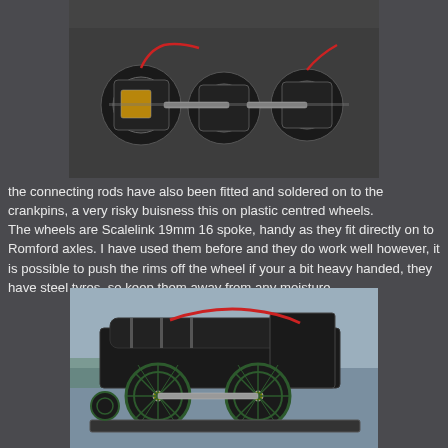[Figure (photo): Top-down view of model train wheel assemblies with connecting rods and red wires on a dark carpet surface]
the connecting rods have also been fitted and soldered on to the crankpins, a very risky buisness this on plastic centred wheels.
The wheels are Scalelink 19mm 16 spoke, handy as they fit directly on to Romford axles. I have used them before and they do work well however, it is possible to push the rims off the wheel if your a bit heavy handed, they have steel tyres, so keep them away from any moisture.
[Figure (photo): Side view of model steam locomotive chassis showing green spoke wheels, connecting rods, and red wiring]